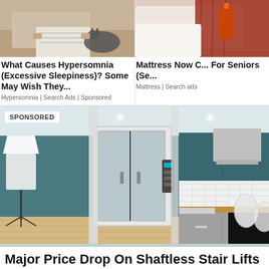[Figure (photo): Man sitting on couch reading newspaper with a cat beside him]
What Causes Hypersomnia (Excessive Sleepiness)? Some May Wish They...
Hypersomnia | Search Ads | Sponsored
[Figure (photo): Close-up of bedding with red fabric, partially cut off on right side]
Mattress Now C... For Seniors (Se...
Mattress | Search ads
[Figure (photo): Modern kitchen with a shaftless home lift/elevator installed, teal walls, gray cabinets, wooden countertops, white dining chairs. SPONSORED label in top-left corner.]
Major Price Drop On Shaftless Stair Lifts